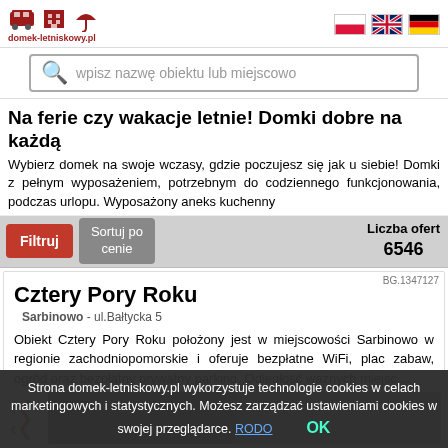domek-letniskowy.pl
wpisz nazwę obiektu lub miejscowo
Na ferie czy wakacje letnie! Domki dobre na każdą
Wybierz domek na swoje wczasy, gdzie poczujesz się jak u siebie! Domki z pełnym wyposażeniem, potrzebnym do codziennego funkcjonowania, podczas urlopu. Wyposażony aneks kuchenny
Filtruj   Sortuj po cenie   Liczba ofert 6546
Cztery Pory Roku
Sarbinowo - ul.Bałtycka 5
Obiekt Cztery Pory Roku położony jest w miejscowości Sarbinowo w regionie zachodniopomorskie i oferuje bezpłatne WiFi, plac zabaw, ogród oraz bezpłatny prywatny parking. Odległość ważnych miejsc ...
Strona domek-letniskowy.pl wykorzystuje technologie cookies w celach marketingowych i statystycznych. Możesz zarządzać ustawieniami cookies w swojej przeglądarce. RODO   OK